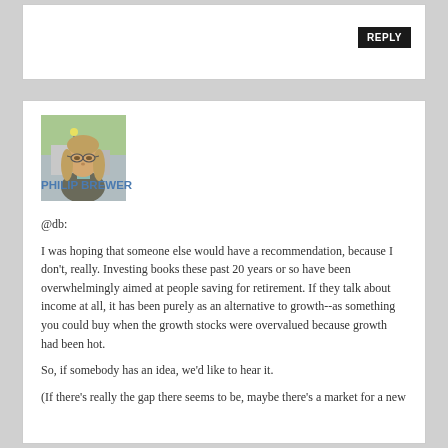[Figure (photo): Profile photo of Philip Brewer, a man with long light brown hair and glasses, wearing a casual jacket, outdoors.]
PHILIP BREWER
@db:

I was hoping that someone else would have a recommendation, because I don't, really. Investing books these past 20 years or so have been overwhelmingly aimed at people saving for retirement. If they talk about income at all, it has been purely as an alternative to growth--as something you could buy when the growth stocks were overvalued because growth had been hot.

So, if somebody has an idea, we'd like to hear it.

(If there's really the gap there seems to be, maybe there's a market for a new